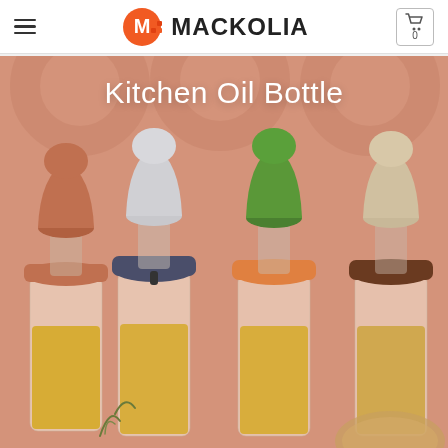MACKOLIA — navigation header with hamburger menu and cart icon showing 0
[Figure (photo): Product photo of Kitchen Oil Bottle — four glass oil dispenser bottles with colorful silicone tops (brown, white/gray, green, beige) sitting on a warm peachy-orange background, with text overlay 'Kitchen Oil Bottle']